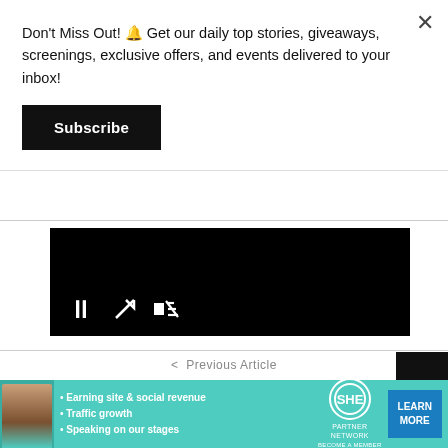Don't Miss Out! 🔔 Get our daily top stories, giveaways, screenings, exclusive offers, and events delivered to your inbox!
Subscribe
[Figure (screenshot): Video player with black background showing pause, expand, and mute controls]
< Previous Article
TWEETS IS WATCHING: Disney Star Skai Jackson Reads Azealia Banks Like A Bedtime Story
Next Article >
[Figure (infographic): SHE Partner Network advertisement banner with teal background showing a person and text about earning site & social revenue, traffic growth, speaking on stages. Learn More button.]